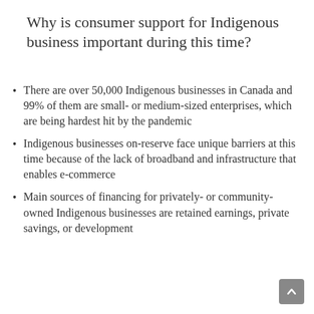Why is consumer support for Indigenous business important during this time?
There are over 50,000 Indigenous businesses in Canada and 99% of them are small- or medium-sized enterprises, which are being hardest hit by the pandemic
Indigenous businesses on-reserve face unique barriers at this time because of the lack of broadband and infrastructure that enables e-commerce
Main sources of financing for privately- or community-owned Indigenous businesses are retained earnings, private savings, or development